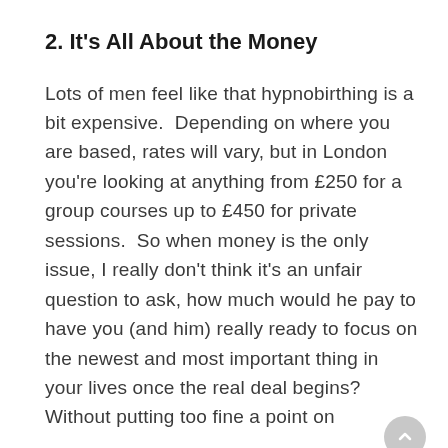2. It's All About the Money
Lots of men feel like that hypnobirthing is a bit expensive.  Depending on where you are based, rates will vary, but in London you're looking at anything from £250 for a group courses up to £450 for private sessions.  So when money is the only issue, I really don't think it's an unfair question to ask, how much would he pay to have you (and him) really ready to focus on the newest and most important thing in your lives once the real deal begins?  Without putting too fine a point on